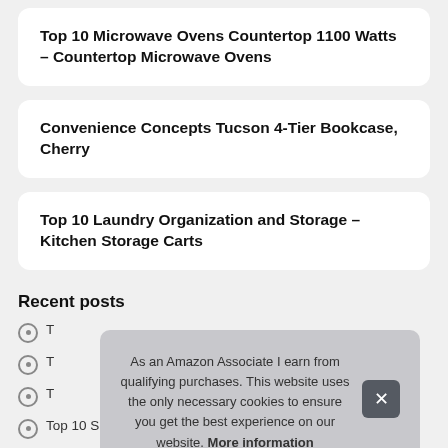Top 10 Microwave Ovens Countertop 1100 Watts – Countertop Microwave Ovens
Convenience Concepts Tucson 4-Tier Bookcase, Cherry
Top 10 Laundry Organization and Storage – Kitchen Storage Carts
Recent posts
T
T
T
Top 10 Shoulder Strap Pouch – Tumblers & Water Glasses
As an Amazon Associate I earn from qualifying purchases. This website uses the only necessary cookies to ensure you get the best experience on our website. More information